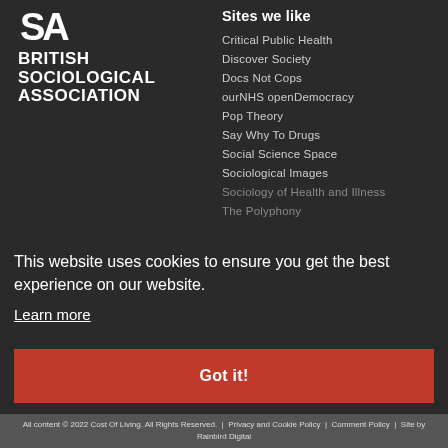[Figure (logo): British Sociological Association logo with stylized 'SA' white text above 'BRITISH SOCIOLOGICAL ASSOCIATION' in white bold uppercase text]
Sites we like
Critical Public Health
Discover Society
Docs Not Cops
ourNHS openDemocracy
Pop Theory
Say Why To Drugs
Social Science Space
Sociological Images
Sociology of Health and Illness
The Polyphony
This website uses cookies to ensure you get the best experience on our website.
Learn more
Got it!
All content © 2022 Cost Of Living. All Rights Reserved. | Privacy and Cookie Policy | Comment Policy | Site by Rainbird Digital